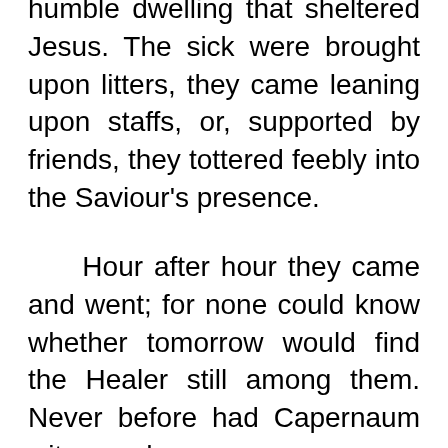humble dwelling that sheltered Jesus. The sick were brought upon litters, they came leaning upon staffs, or, supported by friends, they tottered feebly into the Saviour's presence.
Hour after hour they came and went; for none could know whether tomorrow would find the Healer still among them. Never before had Capernaum witnessed